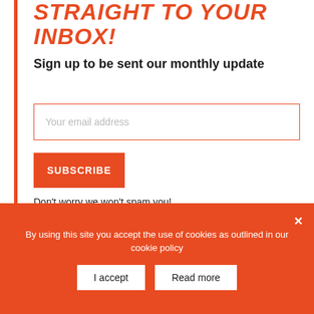STRAIGHT TO YOUR INBOX!
Sign up to be sent our monthly update
Your email address
SUBSCRIBE
Don't worry we won't spam you!
Want more information?
By using this site you accept the use of cookies as outlined in our cookie policy
I accept
Read more